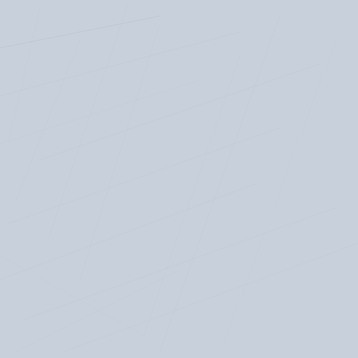Labels: ALBERNI VALLEY BULLDOGS, A... HIGHLIGHT REEL GOAL, HOCKEY, JOS... NORTHEASTERN, PORT ALBERNI, POW...
Bulldogs still "honorable men... VIDEO - Friday's winner, Mar...
The Dogs didn't receive any more love... comes to the latest National Rankings... which is nothing to sneeze at of cours... three games since last weeks ranking... No, the rankings don't really mean any... the team for their efforts and a nice br... community.
The Vernon Vipers went up to #1 in th... Surrey fell from 9th to 11th. The Wests... mention list as well, with back to back... thumping.
Click here to read the full release from...